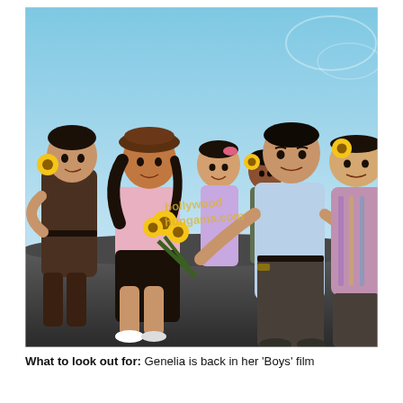[Figure (photo): Group of young people posing outdoors on rocks. A girl in a brown beret and pink outfit sits holding yellow sunflowers, while a boy in a light blue shirt leans toward her offering a flower. Other friends surround them — one boy on the left with a sunflower behind his ear, two girls in the background smiling, and one heavyset boy on the right with a sunflower. The background shows a blue sky. A watermark reads 'bollywoodhungama.com'.]
What to look out for: Genelia is back in her 'Boys' film